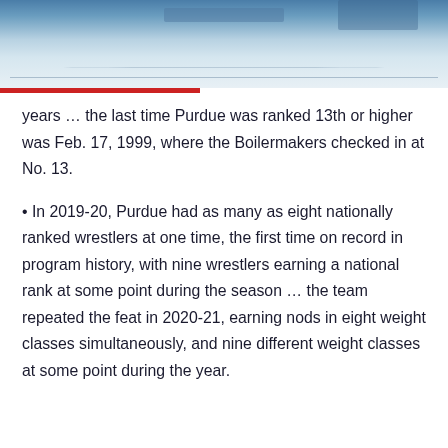[Figure (photo): Sports arena or gymnasium floor photo banner at top of page]
years … the last time Purdue was ranked 13th or higher was Feb. 17, 1999, where the Boilermakers checked in at No. 13.
In 2019-20, Purdue had as many as eight nationally ranked wrestlers at one time, the first time on record in program history, with nine wrestlers earning a national rank at some point during the season … the team repeated the feat in 2020-21, earning nods in eight weight classes simultaneously, and nine different weight classes at some point during the year.